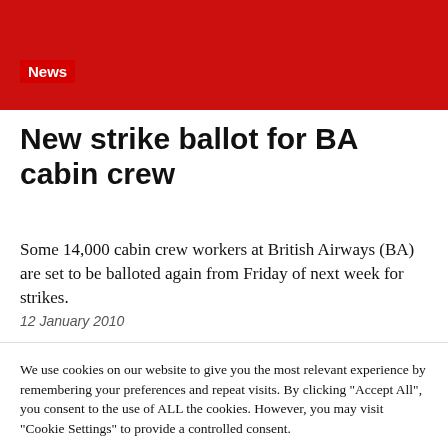News
New strike ballot for BA cabin crew
Some 14,000 cabin crew workers at British Airways (BA) are set to be balloted again from Friday of next week for strikes.
12 January 2010
We use cookies on our website to give you the most relevant experience by remembering your preferences and repeat visits. By clicking "Accept All", you consent to the use of ALL the cookies. However, you may visit "Cookie Settings" to provide a controlled consent.